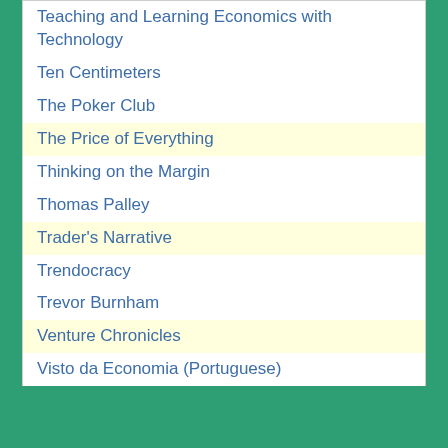Teaching and Learning Economics with Technology
Ten Centimeters
The Poker Club
The Price of Everything
Thinking on the Margin
Thomas Palley
Trader's Narrative
Trendocracy
Trevor Burnham
Venture Chronicles
Visto da Economia (Portuguese)
VoxEU
William J. Polley
Winterspeak
Worthwhile Canadian Initiative
Permanent link for this update: February 2008